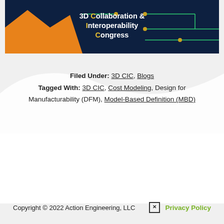[Figure (logo): 3D Collaboration & Interoperability Congress banner logo on dark navy background with orange triangle graphic and circuit-line decorations]
Filed Under: 3D CIC, Blogs
Tagged With: 3D CIC, Cost Modeling, Design for Manufacturability (DFM), Model-Based Definition (MBD)
Copyright © 2022 Action Engineering, LLC   ☒   Privacy Policy